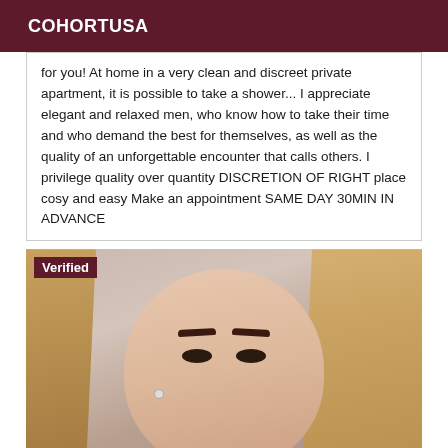COHORTUSA
for you! At home in a very clean and discreet private apartment, it is possible to take a shower... I appreciate elegant and relaxed men, who know how to take their time and who demand the best for themselves, as well as the quality of an unforgettable encounter that calls others. I privilege quality over quantity DISCRETION OF RIGHT place cosy and easy Make an appointment SAME DAY 30MIN IN ADVANCE
[Figure (photo): Portrait photo of a young blonde woman looking directly at the camera, with a 'Verified' badge overlay in the top left corner.]